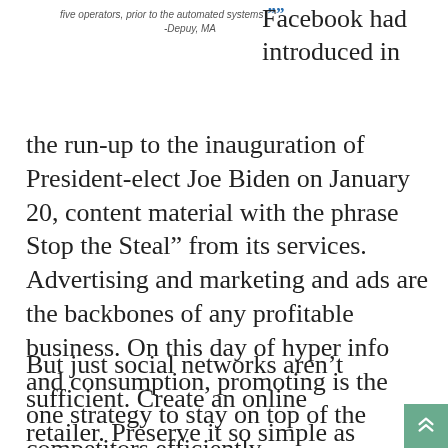five operators, prior to the automated systems ”” -Depuy, MA
Facebook had introduced in the run-up to the inauguration of President-elect Joe Biden on January 20, content material with the phrase Stop the Steal” from its services. Advertising and marketing and ads are the backbones of any profitable business. On this day of hyper info and consumption, promoting is the one strategy to stay on top of the competitors efficiently.
But just social networks aren’t sufficient. Create an online retailer. Preserve it so simple as potential, on a shareware platform like Tilda,